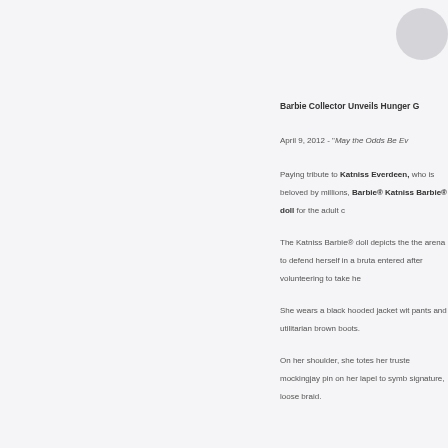[Figure (other): Circular icon/avatar in top right corner, grey circle]
Barbie Collector Unveils Hunger G
April 9, 2012 - "May the Odds Be Ev
Paying tribute to Katniss Everdeen, who is beloved by millions, Barbie® Katniss Barbie® doll for the adult c
The Katniss Barbie® doll depicts the the arena to defend herself in a bruta entered after volunteering to take he
She wears a black hooded jacket wit pants and utilitarian brown boots.
On her shoulder, she totes her truste mockingjay pin on her lapel to symb signature, loose braid.